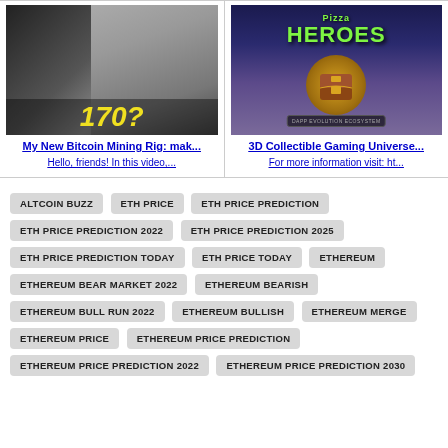[Figure (screenshot): Thumbnail of Bitcoin Mining Rig video showing large yellow text '170?' and a man's face in black and white]
My New Bitcoin Mining Rig: mak...
Hello, friends! In this video,...
[Figure (screenshot): Thumbnail of 3D Collectible Gaming Universe showing 'Pizza Heroes' text, a chest, maze background, and Dapp Evolution Ecosystem logo]
3D Collectible Gaming Universe...
For more information visit: ht...
ALTCOIN BUZZ
ETH PRICE
ETH PRICE PREDICTION
ETH PRICE PREDICTION 2022
ETH PRICE PREDICTION 2025
ETH PRICE PREDICTION TODAY
ETH PRICE TODAY
ETHEREUM
ETHEREUM BEAR MARKET 2022
ETHEREUM BEARISH
ETHEREUM BULL RUN 2022
ETHEREUM BULLISH
ETHEREUM MERGE
ETHEREUM PRICE
ETHEREUM PRICE PREDICTION
ETHEREUM PRICE PREDICTION 2022
ETHEREUM PRICE PREDICTION 2030